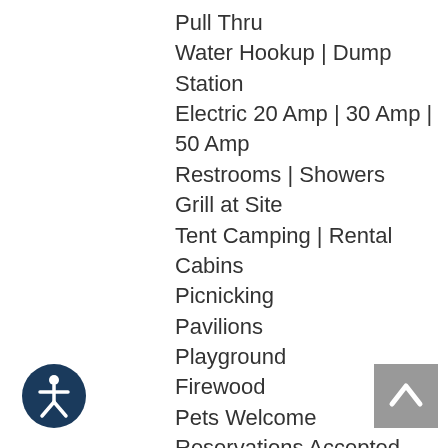Pull Thru
Water Hookup | Dump Station
Electric 20 Amp | 30 Amp | 50 Amp
Restrooms | Showers
Grill at Site
Tent Camping | Rental Cabins
Picnicking
Pavilions
Playground
Firewood
Pets Welcome
Reservations Accepted
Guided Tours
Planned Activities
Hiking Trails
Fishing
[Figure (illustration): Accessibility icon: circular dark blue button with white person/accessibility symbol]
[Figure (illustration): Back to top button: grey square with white upward chevron arrow]